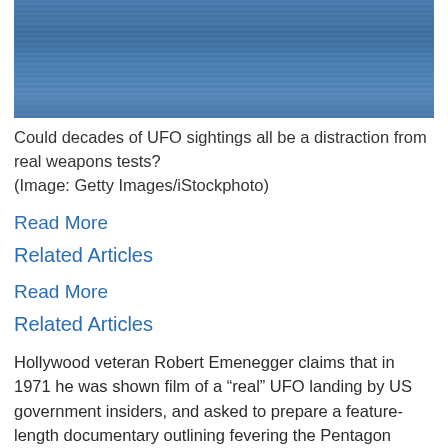[Figure (photo): Blue ocean/water surface photograph with horizontal texture, steel-blue color]
Could decades of UFO sightings all be a distraction from real weapons tests?
(Image: Getty Images/iStockphoto)
Read More
Related Articles
Read More
Related Articles
Hollywood veteran Robert Emenegger claims that in 1971 he was shown film of a “real” UFO landing by US government insiders, and asked to prepare a feature-length documentary outlining fevering the Pentagon knew about the visitors.